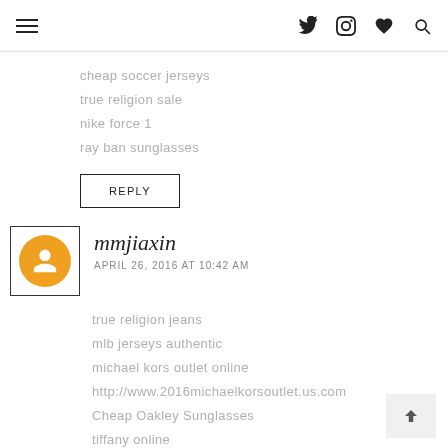Navigation header with hamburger menu and social icons
cheap soccer jerseys
true religion sale
nike force 1
ray ban sunglasses
REPLY
mmjiaxin
APRIL 26, 2016 AT 10:42 AM
true religion jeans
mlb jerseys authentic
michael kors outlet online
http://www.2016michaelkorsoutlet.us.com
Cheap Oakley Sunglasses
tiffany online
Cheap Jerseys Online
cheap oakley sunglasses
tiffany and co outlet
oakley sunglasses